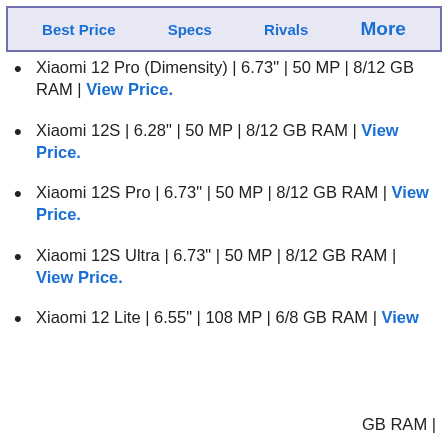Best Price | Specs | Rivals | More
Xiaomi 12 Pro (Dimensity) | 6.73" | 50 MP | 8/12 GB RAM | View Price.
Xiaomi 12S | 6.28" | 50 MP | 8/12 GB RAM | View Price.
Xiaomi 12S Pro | 6.73" | 50 MP | 8/12 GB RAM | View Price.
Xiaomi 12S Ultra | 6.73" | 50 MP | 8/12 GB RAM | View Price.
Xiaomi 12 Lite | 6.55" | 108 MP | 6/8 GB RAM | View
GB RAM |